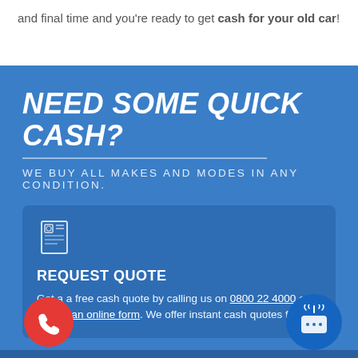and final time and you're ready to get cash for your old car!
NEED SOME QUICK CASH?
WE BUY ALL MAKES AND MODES IN ANY CONDITION.
REQUEST QUOTE
Get a a free cash quote by calling us on 0800 22 4000 or submit an online form. We offer instant cash quotes f